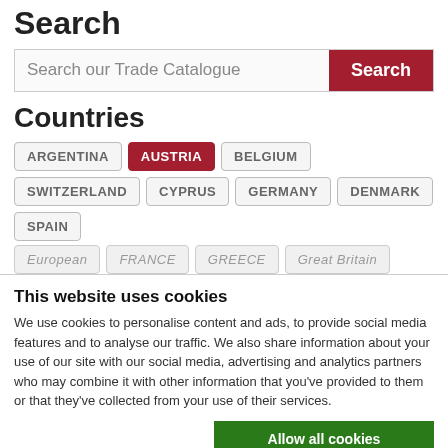Search
[Figure (screenshot): Search input box with placeholder 'Search our Trade Catalogue' and a dark red Search button]
Countries
ARGENTINA  AUSTRIA (active)  BELGIUM  SWITZERLAND  CYPRUS  GERMANY  DENMARK  SPAIN  European  FRANCE  GREECE  Great Britain (partially visible)
This website uses cookies
We use cookies to personalise content and ads, to provide social media features and to analyse our traffic. We also share information about your use of our site with our social media, advertising and analytics partners who may combine it with other information that you've provided to them or that they've collected from your use of their services.
Allow all cookies
Allow selection
Use necessary cookies only
Necessary  Preferences  Statistics  Marketing  Show details